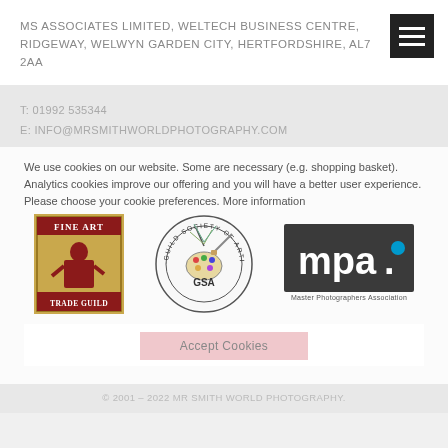MS ASSOCIATES LIMITED, WELTECH BUSINESS CENTRE, RIDGEWAY, WELWYN GARDEN CITY, HERTFORDSHIRE, AL7 2AA
T: 01992 535344
E: INFO@MRSMITHWORLDPHOTOGRAPHY.COM
We use cookies on our website. Some are necessary (e.g. shopping basket). Analytics cookies improve our offering and you will have a better user experience. Please choose your cookie preferences. More information
[Figure (logo): Fine Art Trade Guild logo — figure of a robed person with gold and red design, text FINE ART TRADE GUILD]
[Figure (logo): Guild Society of Artists (GSA) circular logo with illustration of artist palette and instruments, text GSA GUILD SOCIETY OF ARTISTS]
[Figure (logo): Master Photographers Association (mpa.) logo — dark gray rectangle with white text mpa. and blue dot, subtitle Master Photographers Association]
Accept Cookies
© 2001 – 2022 MR SMITH WORLD PHOTOGRAPHY.